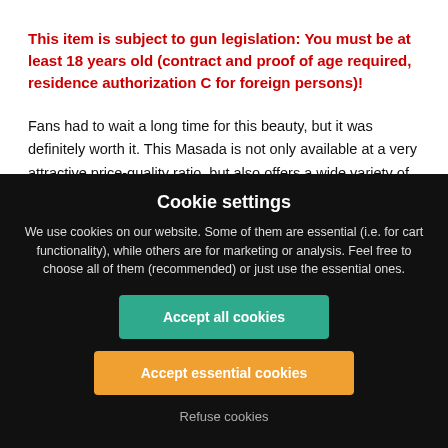This item is subject to gun legislation: You must be at least 18 years old (contract and proof of age required, residence authorization C for foreign persons)!
Fans had to wait a long time for this beauty, but it was definitely worth it. This Masada is not only available at a very attractive price-quality ratio, but also offers a wide variety of other features. The gun has a reliable and well-performing gearbox, resulting in a
Cookie settings
We use cookies on our website. Some of them are essential (i.e. for cart functionality), while others are for marketing or analysis. Feel free to choose all of them (recommended) or just use the essential ones.
Accept all cookies
Accept essential cookies
Refuse cookies